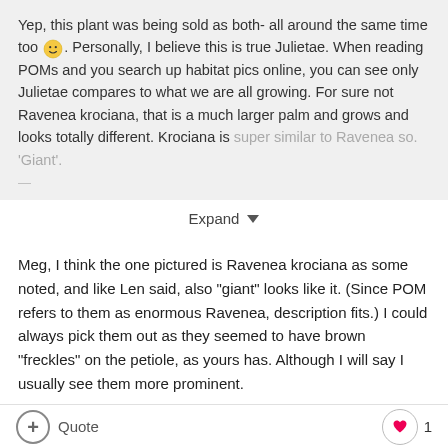Yep, this plant was being sold as both- all around the same time too 🙂. Personally, I believe this is true Julietae. When reading POMs and you search up habitat pics online, you can see only Julietae compares to what we are all growing. For sure not Ravenea krociana, that is a much larger palm and grows and looks totally different. Krociana is super similar to Ravenea so.'Giant'.
Expand ▼
Meg, I think the one pictured is Ravenea krociana as some noted, and like Len said, also "giant" looks like it. (Since POM refers to them as enormous Ravenea, description fits.) I could always pick them out as they seemed to have brown "freckles" on the petiole, as yours has. Although I will say I usually see them more prominent.
Happy to say I was finally able to locate a replacement for my large 15 gal juliettae stolon from my front driveway over a year ago. 🙂